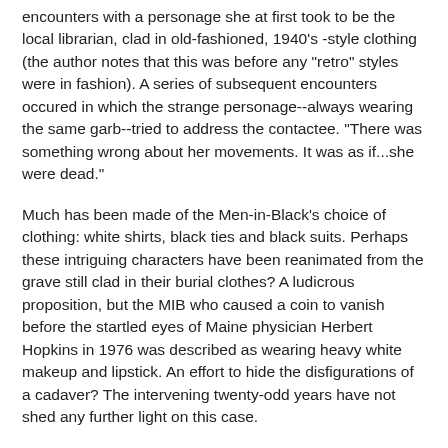encounters with a personage she at first took to be the local librarian, clad in old-fashioned, 1940's -style clothing (the author notes that this was before any "retro" styles were in fashion). A series of subsequent encounters occured in which the strange personage--always wearing the same garb--tried to address the contactee. "There was something wrong about her movements. It was as if...she were dead."
Much has been made of the Men-in-Black's choice of clothing: white shirts, black ties and black suits. Perhaps these intriguing characters have been reanimated from the grave still clad in their burial clothes? A ludicrous proposition, but the MIB who caused a coin to vanish before the startled eyes of Maine physician Herbert Hopkins in 1976 was described as wearing heavy white makeup and lipstick. An effort to hide the disfigurations of a cadaver? The intervening twenty-odd years have not shed any further light on this case.
(An earlier version of this article appeared in 2001 in FATE Magazine and was cited by Preston Dennett in the MUFON Proceedings for 2002)